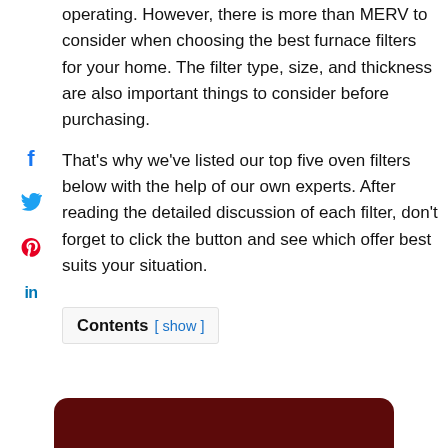operating. However, there is more than MERV to consider when choosing the best furnace filters for your home. The filter type, size, and thickness are also important things to consider before purchasing.
That's why we've listed our top five oven filters below with the help of our own experts. After reading the detailed discussion of each filter, don't forget to click the button and see which offer best suits your situation.
Contents [ show ]
[Figure (other): Dark red/maroon rounded rectangle banner at the bottom of the page]